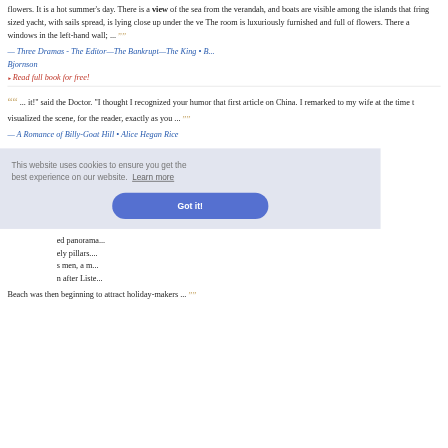flowers. It is a hot summer’s day. There is a view of the sea from the verandah, and boats are visible among the islands that fringe the coast. A sized yacht, with sails spread, is lying close up under the ve... The room is luxuriously furnished and full of flowers. There a... windows in the left-hand wall; ... ””
— Three Dramas - The Editor—The Bankrupt—The King • B... Bjornson
▸ Read full book for free!
““ ... it!" said the Doctor. "I thought I recognized your humor... that first article on China. I remarked to my wife at the time t... visualized the scene, for the reader, exactly as you ... ””
— A Romance of Billy-Goat Hill • Alice Hegan Rice
This website uses cookies to ensure you get the best experience on our website. Learn more
Got it!
ed panorama... ely pillars.... s men, a m... n after Liste...
Beach was then beginning to attract holiday-makers ... ””